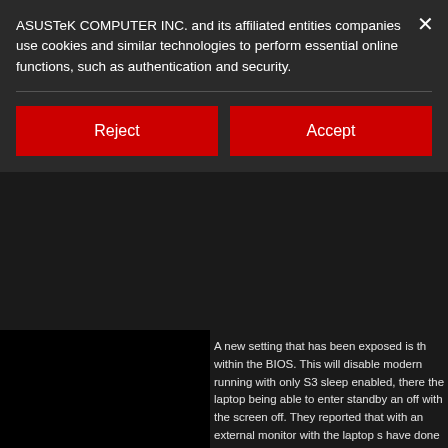ASUSTeK COMPUTER INC. and its affiliated entities companies use cookies and similar technologies to perform essential online functions, such as authentication and security.
Reject
Accept
A new setting that has been exposed is th within the BIOS. This will disable modern running with only S3 sleep enabled, there the laptop being able to enter standby an off with the screen off. They reported that with an external monitor with the laptop s have done some reading on the new mod Microsoft and it seems like there are othe have issues with laptops being able to en with S0 sleep. I am not sure who is at fau being able to reliability enter sleep with th keep store apps awake so that your comp while in sleep but it is nonsense. While m to stay sleeping and use as little power as
So while this might not fix the problem 10 issue entering sleep, there is no issues w future official BIOS release, we can have exposed for all of us to decide if we woul